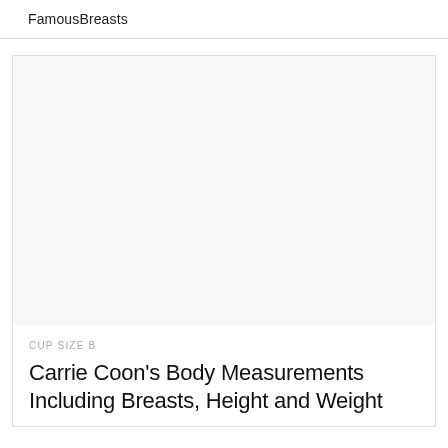FamousBreasts
[Figure (photo): Large image placeholder area for Carrie Coon photo]
CUP SIZE B
Carrie Coon's Body Measurements Including Breasts, Height and Weight